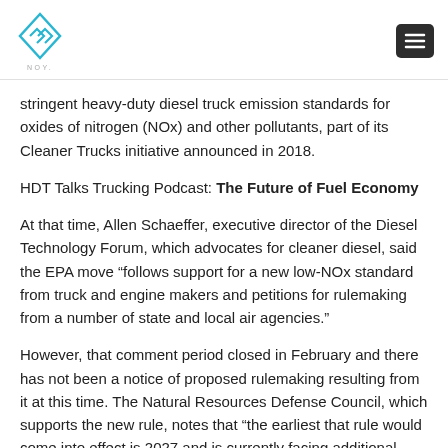NOx logo and menu button
stringent heavy-duty diesel truck emission standards for oxides of nitrogen (NOx) and other pollutants, part of its Cleaner Trucks initiative announced in 2018.
HDT Talks Trucking Podcast: The Future of Fuel Economy
At that time, Allen Schaeffer, executive director of the Diesel Technology Forum, which advocates for cleaner diesel, said the EPA move “follows support for a new low-NOx standard from truck and engine makers and petitions for rulemaking from a number of state and local air agencies.”
However, that comment period closed in February and there has not been a notice of proposed rulemaking resulting from it at this time. The Natural Resources Defense Council, which supports the new rule, notes that “the earliest that rule would come into effect is 2027 and is currently facing additional delays.”